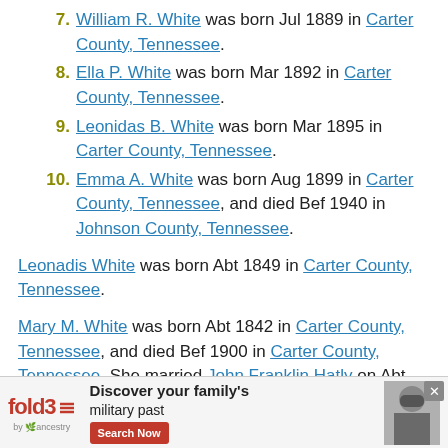7. William R. White was born Jul 1889 in Carter County, Tennessee.
8. Ella P. White was born Mar 1892 in Carter County, Tennessee.
9. Leonidas B. White was born Mar 1895 in Carter County, Tennessee.
10. Emma A. White was born Aug 1899 in Carter County, Tennessee, and died Bef 1940 in Johnson County, Tennessee.
Leonadis White was born Abt 1849 in Carter County, Tennessee.
Mary M. White was born Abt 1842 in Carter County, Tennessee, and died Bef 1900 in Carter County, Tennessee. She married John Franklin Hatly on Abt 1868 in Carter County, Tennessee. He was born 19 Jan 1838 in Watauga County, North Carolina, and died 15 Aug 1885 in Carter County, Tennessee, and he was buried...
[Figure (other): Advertisement banner for fold3 by Ancestry: 'Discover your family's military past — Search Now']